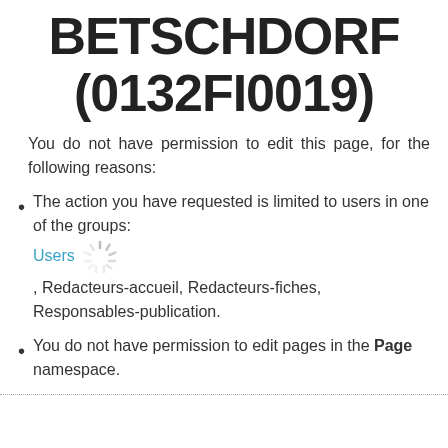BETSCHDORF (0132FI0019)
You do not have permission to edit this page, for the following reasons:
The action you have requested is limited to users in one of the groups: Users , Redacteurs-accueil, Redacteurs-fiches, Responsables-publication.
You do not have permission to edit pages in the Page namespace.